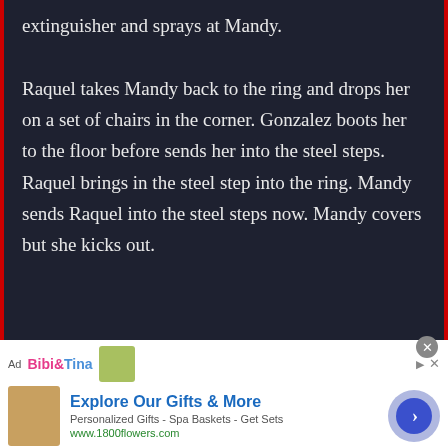extinguisher and sprays at Mandy. Raquel takes Mandy back to the ring and drops her on a set of chairs in the corner. Gonzalez boots her to the floor before sends her into the steel steps. Raquel brings in the steel step into the ring. Mandy sends Raquel into the steel steps now. Mandy covers but she kicks out.
[Figure (other): Advertisement banner for Bibi & Tina with an ad for 1800flowers.com - Explore Our Gifts & More. Personalized Gifts - Spa Baskets - Get Sets. www.1800flowers.com]